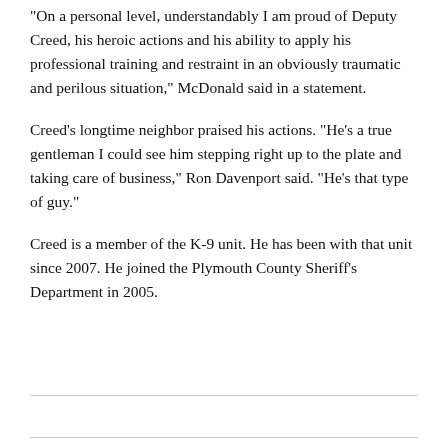"On a personal level, understandably I am proud of Deputy Creed, his heroic actions and his ability to apply his professional training and restraint in an obviously traumatic and perilous situation," McDonald said in a statement.
Creed's longtime neighbor praised his actions. "He's a true gentleman I could see him stepping right up to the plate and taking care of business," Ron Davenport said. "He's that type of guy."
Creed is a member of the K-9 unit. He has been with that unit since 2007. He joined the Plymouth County Sheriff's Department in 2005.